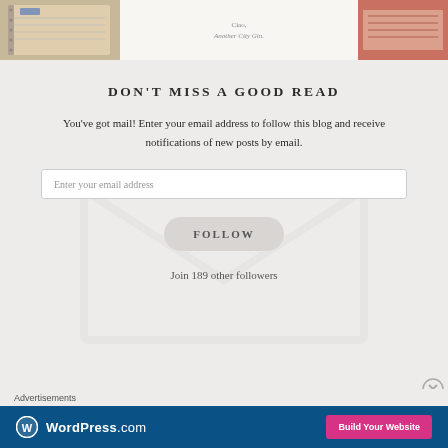[Figure (photo): Top strip with three images: left shows a notebook/planner with tan/beige tones, center shows white area with text 'Ciao,' and 'Another City Gin.' in script, right shows a salmon/pink toned image of stacked papers or books]
DON'T MISS A GOOD READ
You've got mail! Enter your email address to follow this blog and receive notifications of new posts by email.
Enter your email address
FOLLOW
Join 189 other followers
Advertisements
[Figure (screenshot): WordPress.com advertisement banner with dark blue background, WordPress logo and text on left, pink 'Build Your Website' button on right]